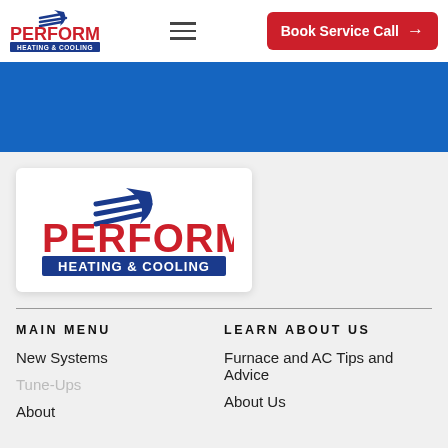[Figure (logo): Perform Heating & Cooling logo in header navigation bar]
[Figure (other): Hamburger menu icon (three horizontal lines)]
Book Service Call →
[Figure (other): Blue hero banner background]
[Figure (logo): Perform Heating & Cooling logo in white card on grey background]
MAIN MENU
New Systems
Tune-Ups
About
LEARN ABOUT US
Furnace and AC Tips and Advice
About Us